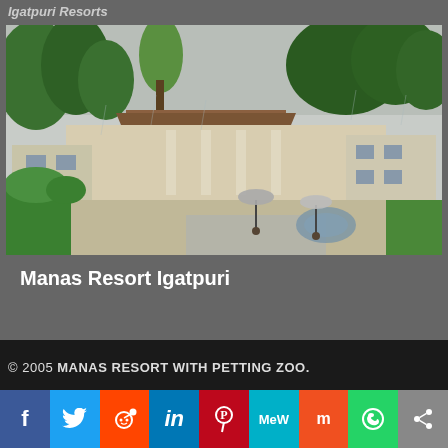Igatpuri Resorts
[Figure (photo): Photograph of Manas Resort Igatpuri showing a low-rise building with columns, lush green trees, a paved courtyard with a fountain/pool, and people with umbrellas in the rain.]
Manas Resort Igatpuri
© 2005 MANAS RESORT WITH PETTING ZOO.
[Figure (infographic): Social media sharing bar with icons: Facebook, Twitter, Reddit, LinkedIn, Pinterest, MeWe, Mix, WhatsApp, Share]